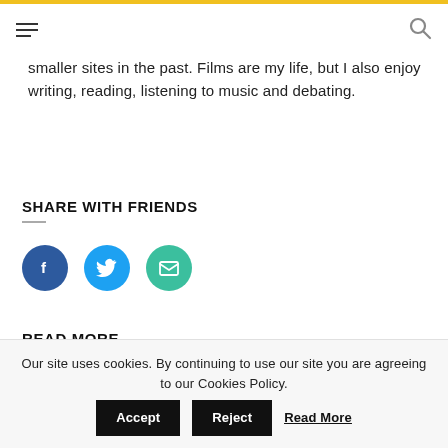Navigation bar with hamburger menu and search icon
smaller sites in the past. Films are my life, but I also enjoy writing, reading, listening to music and debating.
SHARE WITH FRIENDS
[Figure (other): Three circular social share buttons: Facebook (dark blue), Twitter (light blue), Email (teal/green)]
READ MORE..
Our site uses cookies. By continuing to use our site you are agreeing to our Cookies Policy. Accept Reject Read More